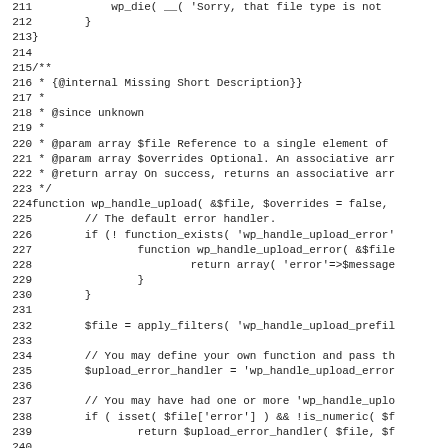[Figure (screenshot): Source code listing (PHP/WordPress) showing lines 211-243, including closing braces, a PHPDoc comment block with @internal, @since, @param, and @return tags, and the wp_handle_upload function definition with error handling, apply_filters, upload_error_handler, and unique_filename_callback logic.]